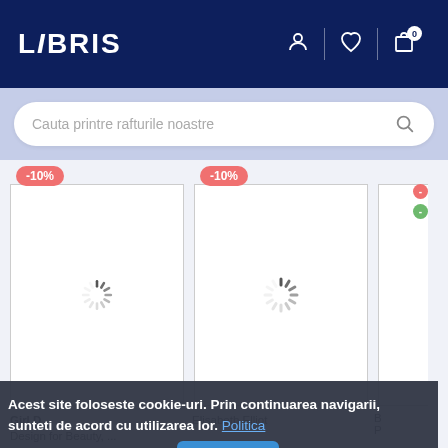[Figure (screenshot): LIBRIS bookstore website header with dark navy background, white LIBRIS logo, user icon, heart icon, and cart icon with badge showing 0]
[Figure (screenshot): Search bar with placeholder text 'Cauta printre rafturile noastre' on light blue/lavender background]
[Figure (screenshot): Product card 1 with -10% discount badge, loading spinner, partial book title 'Girl D...' and 'Design for Beauty... Femininity, and Identity -']
[Figure (screenshot): Product card 2 with -10% discount badge, loading spinner, partial author 'Elisabeth Elliot']
[Figure (screenshot): Partial product card 3 on right edge with red and green badges]
Acest site foloseste cookie-uri. Prin continuarea navigarii, sunteti de acord cu utilizarea lor. Politica Cookie. Protectia Datelor.
Accepta